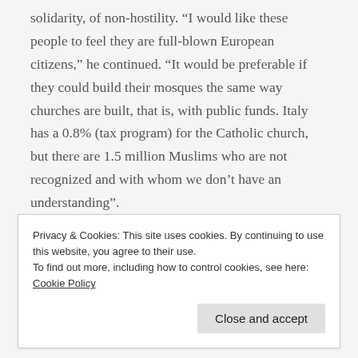solidarity, of non-hostility. “I would like these people to feel they are full-blown European citizens,” he continued. “It would be preferable if they could build their mosques the same way churches are built, that is, with public funds. Italy has a 0.8% (tax program) for the Catholic church, but there are 1.5 million Muslims who are not recognized and with whom we don’t have an understanding”.
He concluded by saying that a European Islam “could be more open and modern than the fundamentalist kind that comes from some countries of origin,” which is
Privacy & Cookies: This site uses cookies. By continuing to use this website, you agree to their use.
To find out more, including how to control cookies, see here: Cookie Policy